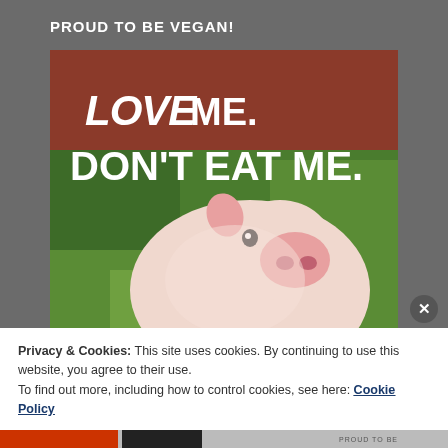PROUD TO BE VEGAN!
[Figure (photo): Photo of a cute baby pig (piglet) on green grass with text overlay reading 'LOVE ME. DON'T EAT ME.' in white bold italic font]
Privacy & Cookies: This site uses cookies. By continuing to use this website, you agree to their use.
To find out more, including how to control cookies, see here: Cookie Policy
Close and accept